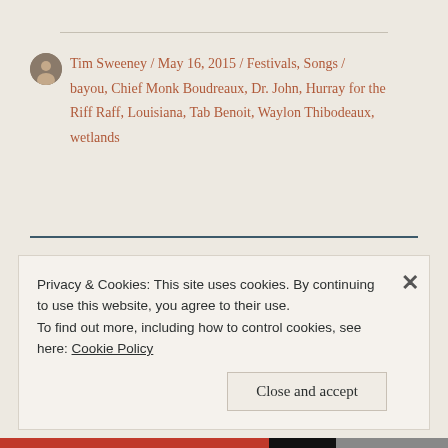Tim Sweeney / May 16, 2015 / Festivals, Songs / bayou, Chief Monk Boudreaux, Dr. John, Hurray for the Riff Raff, Louisiana, Tab Benoit, Waylon Thibodeaux, wetlands
Leave a Reply
Privacy & Cookies: This site uses cookies. By continuing to use this website, you agree to their use.
To find out more, including how to control cookies, see here: Cookie Policy